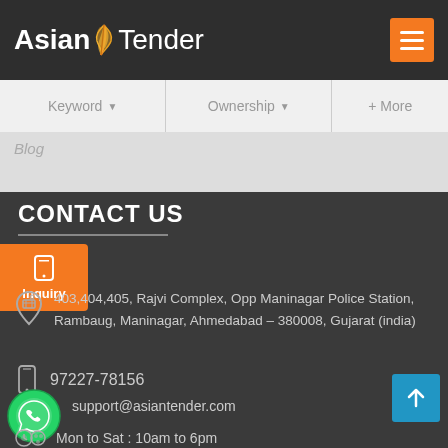[Figure (logo): Asian Tender logo with feather icon on dark background header]
[Figure (screenshot): Navigation search bar with Keyword, Ownership dropdowns and +More button]
Blog
CONTACT US
[Figure (infographic): Orange Inquiry button with mobile phone icon]
403,404,405, Rajvi Complex, Opp Maninagar Police Station, Rambaug, Maninagar, Ahmedabad – 380008, Gujarat (india)
97227-78156
support@asiantender.com
Mon to Sat : 10am to 6pm